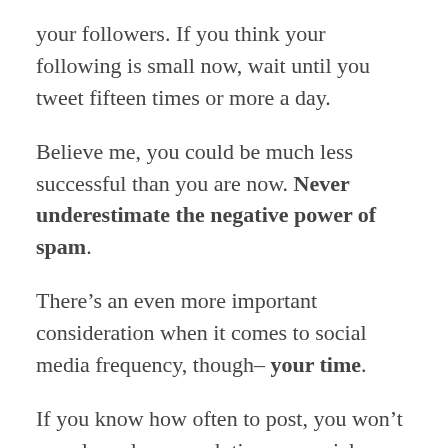your followers. If you think your following is small now, wait until you tweet fifteen times or more a day.
Believe me, you could be much less successful than you are now. Never underestimate the negative power of spam.
There’s an even more important consideration when it comes to social media frequency, though– your time.
If you know how often to post, you won’t spend nearly as much time on social media. Eliminating guesswork and putting a system